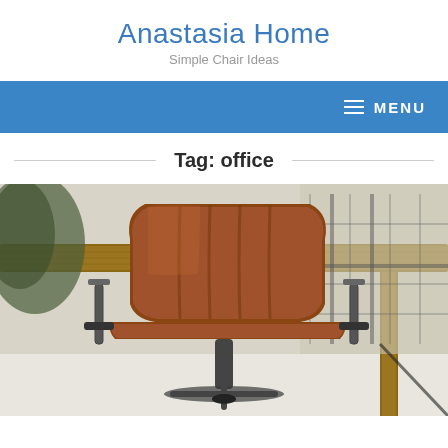Anastasia Home
Simple Chair Ideas
≡ MENU
Tag: office
[Figure (photo): A brown leather office chair with metal arms positioned in front of a wooden desk, in an industrial-style office setting.]